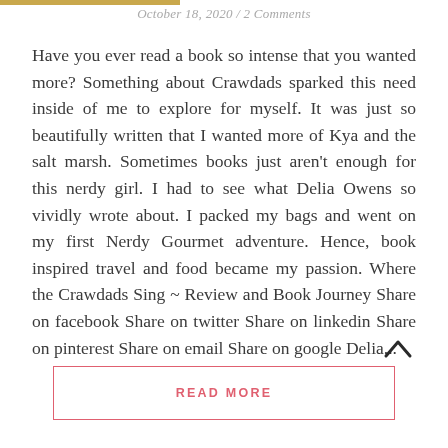October 18, 2020 / 2 Comments
Have you ever read a book so intense that you wanted more? Something about Crawdads sparked this need inside of me to explore for myself. It was just so beautifully written that I wanted more of Kya and the salt marsh. Sometimes books just aren't enough for this nerdy girl. I had to see what Delia Owens so vividly wrote about. I packed my bags and went on my first Nerdy Gourmet adventure. Hence, book inspired travel and food became my passion. Where the Crawdads Sing ~ Review and Book Journey Share on facebook Share on twitter Share on linkedin Share on pinterest Share on email Share on google Delia...
READ MORE